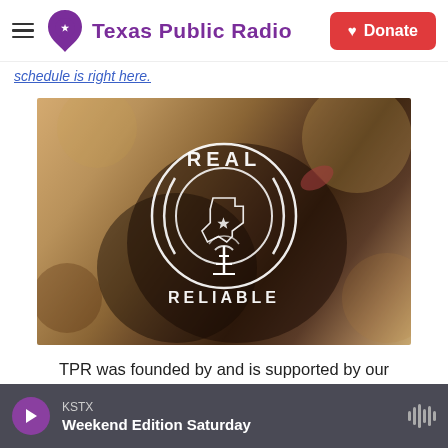Texas Public Radio — Donate
schedule is right here.
[Figure (photo): Hands holding a smartphone with Texas Public Radio 'Real Reliable' badge overlay logo on a warm bokeh background]
TPR was founded by and is supported by our community. If you value our commitment to
KSTX — Weekend Edition Saturday